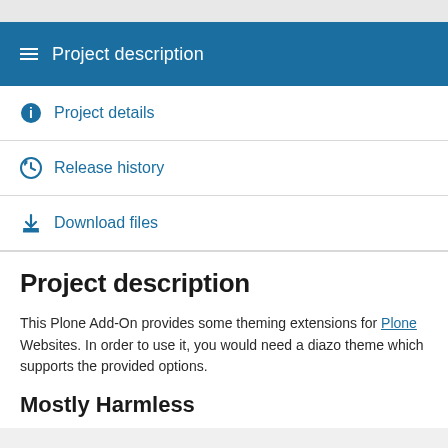Project description
Project details
Release history
Download files
Project description
This Plone Add-On provides some theming extensions for Plone Websites. In order to use it, you would need a diazo theme which supports the provided options.
Mostly Harmless